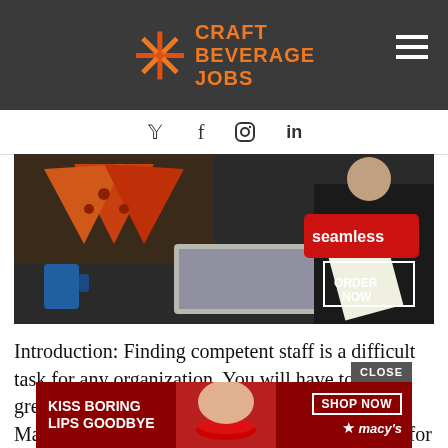CRAFT BEVERAGE JOBS
[Figure (screenshot): Article header image showing business people at a desk with laptop, overlaid with Seamless food delivery ad showing pizza and ORDER NOW button]
Introduction: Finding competent staff is a difficult task for any organization. You will have to put a great deal of effort and resources in this regard. Many companies tend to hire staffing companies for f... the
[Figure (screenshot): Macy's advertisement banner: KISS BORING LIPS GOODBYE with SHOP NOW button and Macy's star logo, red background with model photo]